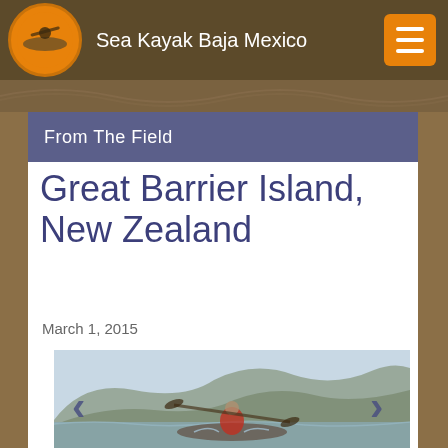Sea Kayak Baja Mexico
From The Field
Great Barrier Island, New Zealand
March 1, 2015
[Figure (photo): A kayaker paddling near rocky cliffs, viewed from behind. The person is wearing a red life jacket and paddling in rough water with green hills and a light sky in the background. Navigation arrows (< >) are overlaid on the left and right sides of the image.]